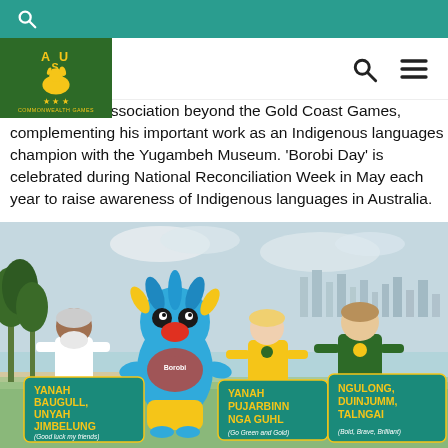Australian Commonwealth Games website header with logo, search and menu icons
ealth Games association beyond the Gold Coast Games, complementing his important work as an Indigenous languages champion with the Yugambeh Museum. 'Borobi Day' is celebrated during National Reconciliation Week in May each year to raise awareness of Indigenous languages in Australia.
[Figure (photo): Group photo of four people outdoors near beach: an elderly Indigenous man with white beard, the Borobi mascot (blue bird costume), a young woman in Australian gold/green uniform, and a young man in Australian green uniform. Each holds a teal sign with Yugambeh language phrases: 'YANAH BAUGULL UNYAH JIMBELUNG (Good luck my friends)', 'YANAH PUJARBINN NGA GUHL (Go Green and Gold)', 'NGULONG, DUINJUMM, TALNGAI (Bold, Brave, Brilliant)'. Background shows beach, palm trees, Gold Coast skyline.]